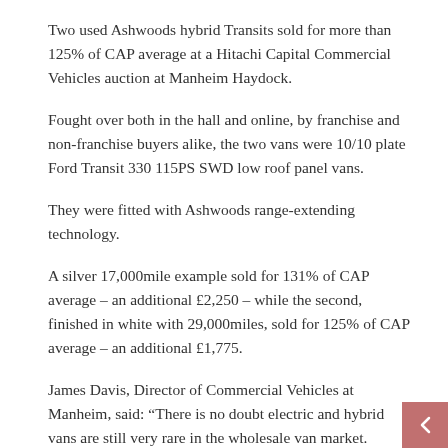Two used Ashwoods hybrid Transits sold for more than 125% of CAP average at a Hitachi Capital Commercial Vehicles auction at Manheim Haydock.
Fought over both in the hall and online, by franchise and non-franchise buyers alike, the two vans were 10/10 plate Ford Transit 330 115PS SWD low roof panel vans.
They were fitted with Ashwoods range-extending technology.
A silver 17,000mile example sold for 131% of CAP average – an additional £2,250 – while the second, finished in white with 29,000miles, sold for 125% of CAP average – an additional £1,775.
James Davis, Director of Commercial Vehicles at Manheim, said: “There is no doubt electric and hybrid vans are still very rare in the wholesale van market.